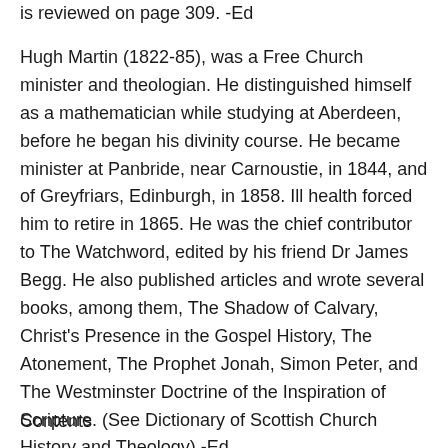is reviewed on page 309. -Ed
Hugh Martin (1822-85), was a Free Church minister and theologian. He distinguished himself as a mathematician while studying at Aberdeen, before he began his divinity course. He became minister at Panbride, near Carnoustie, in 1844, and of Greyfriars, Edinburgh, in 1858. Ill health forced him to retire in 1865. He was the chief contributor to The Watchword, edited by his friend Dr James Begg. He also published articles and wrote several books, among them, The Shadow of Calvary, Christ's Presence in the Gospel History, The Atonement, The Prophet Jonah, Simon Peter, and The Westminster Doctrine of the Inspiration of Scripture. (See Dictionary of Scottish Church History and Theology) -Ed
Contents